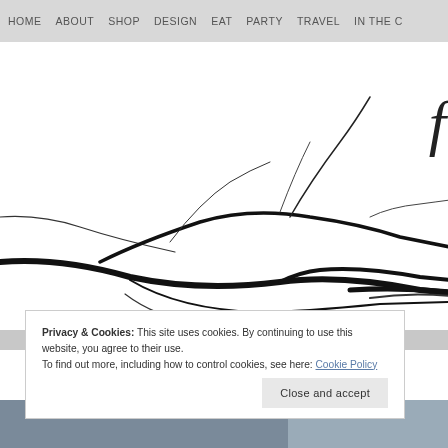HOME   ABOUT   SHOP   DESIGN   EAT   PARTY   TRAVEL   IN THE C
[Figure (illustration): Black ink brush drawing of bare tree branches extending across a white background, with a large italic letter visible in the top right corner]
Privacy & Cookies: This site uses cookies. By continuing to use this website, you agree to their use.
To find out more, including how to control cookies, see here: Cookie Policy
Close and accept